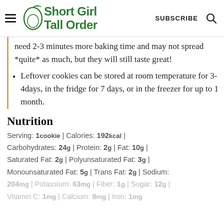Short Girl Tall Order | SUBSCRIBE
need 2-3 minutes more baking time and may not spread *quite* as much, but they will still taste great!
Leftover cookies can be stored at room temperature for 3-4days, in the fridge for 7 days, or in the freezer for up to 1 month.
Nutrition
Serving: 1cookie | Calories: 192kcal | Carbohydrates: 24g | Protein: 2g | Fat: 10g | Saturated Fat: 2g | Polyunsaturated Fat: 3g | Monounsaturated Fat: 5g | Trans Fat: 2g | Sodium: 204mg | Potassium: 63mg | Fiber: 1g | Sugar: 12g | Vitamin C: 1mg | Calcium: 8mg | Iron: 1mg